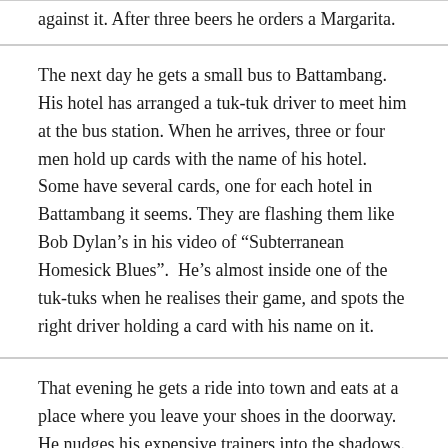against it. After three beers he orders a Margarita.
The next day he gets a small bus to Battambang. His hotel has arranged a tuk-tuk driver to meet him at the bus station. When he arrives, three or four men hold up cards with the name of his hotel. Some have several cards, one for each hotel in Battambang it seems. They are flashing them like Bob Dylan’s in his video of “Subterranean Homesick Blues”.  He’s almost inside one of the tuk-tuks when he realises their game, and spots the right driver holding a card with his name on it.
That evening he gets a ride into town and eats at a place where you leave your shoes in the doorway. He nudges his expensive trainers into the shadows. By 9:30 p.m. the town seems almost deserted. Cafes and bars are open, but the only people in them are staff, their faces illuminated by the glow of phones. He finds a pub with a group of expats sitting outside on couches and armchairs around a